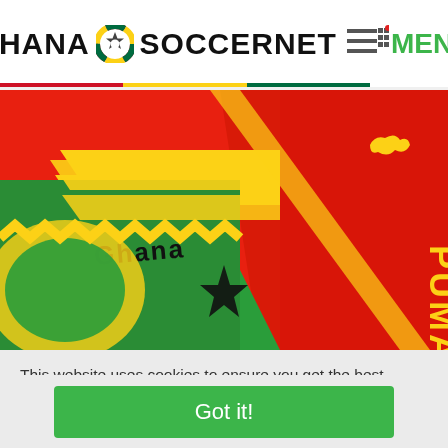GHANA SOCCERNET MENU
[Figure (photo): Close-up photo of Ghana national football team jerseys by PUMA. Shows red jersey with PUMA logo and yellow GHANA text, and another jersey with Ghana coat of arms featuring zigzag/kente pattern in yellow and green with a black star.]
This website uses cookies to ensure you get the best experience on our website. Learn more
Got it!